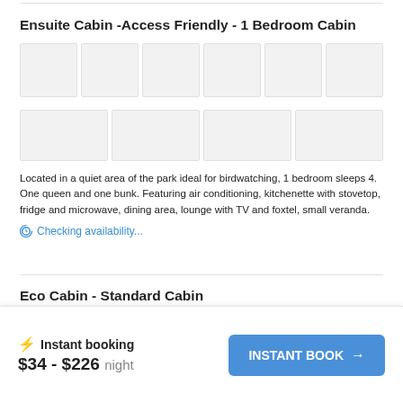Ensuite Cabin -Access Friendly - 1 Bedroom Cabin
[Figure (photo): Grid of 10 thumbnail images (2 rows: 6 in first row, 4 in second row) showing cabin photos, displayed as placeholder boxes]
Located in a quiet area of the park ideal for birdwatching, 1 bedroom sleeps 4. One queen and one bunk. Featuring air conditioning, kitchenette with stovetop, fridge and microwave, dining area, lounge with TV and foxtel, small veranda.
Checking availability...
Eco Cabin - Standard Cabin
⚡ Instant booking
$34 - $226 night